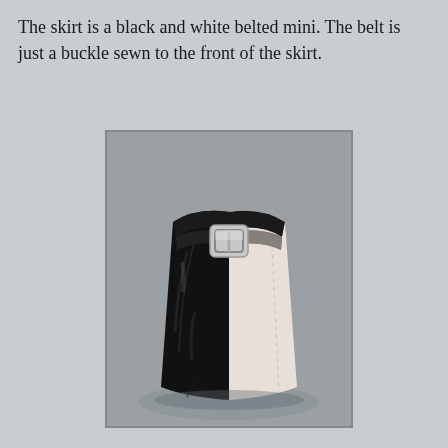The skirt is a black and white belted mini.  The belt is just a buckle sewn to the front of the skirt.
[Figure (photo): A black and white doll mini skirt with a silver buckle belt sewn to the front, photographed against a grey background.]